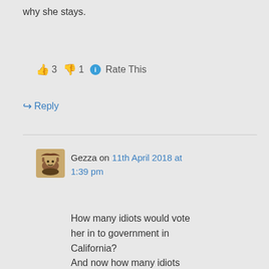why she stays.
👍 3 👎 1 ℹ Rate This
↪ Reply
Gezza on 11th April 2018 at 1:39 pm
How many idiots would vote her in to government in California? And now how many idiots would vote her in here? Answer why she stays seems pretty obvious.